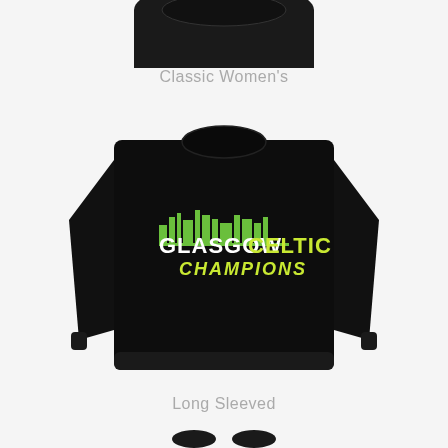[Figure (photo): Partial view of a Classic Women's black t-shirt (only the neck/collar area visible at top of image)]
Classic Women's
[Figure (photo): Black long-sleeved shirt with 'GLASGOW CELTIC CHAMPIONS' graphic on the chest, showing a city skyline above the text, with 'GLASGOW' in white, 'CELTIC' in yellow-green, and 'CHAMPIONS' in italic yellow-green text]
Long Sleeved